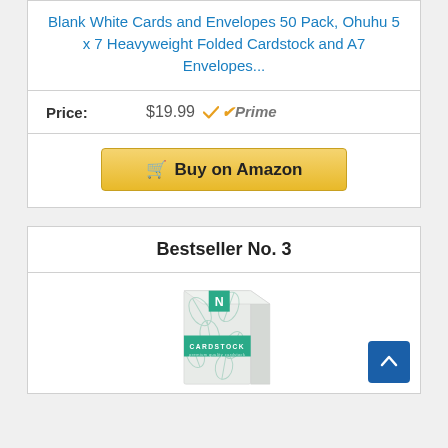Blank White Cards and Envelopes 50 Pack, Ohuhu 5 x 7 Heavyweight Folded Cardstock and A7 Envelopes...
Price: $19.99 ✓Prime
Buy on Amazon
Bestseller No. 3
[Figure (photo): Product box of Neenah Cardstock with teal leaf design and teal 'N' logo label]